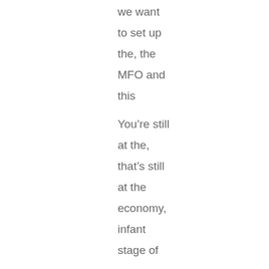we want

to set up

the, the

MFO and

this

You're still

at the,

that's still

at the

economy,

infant

stage of

you can

go and